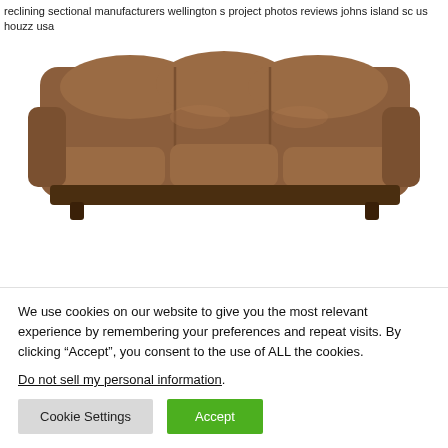reclining sectional manufacturers wellington s project photos reviews johns island sc us houzz usa
[Figure (photo): A brown leather reclining sofa/sectional with three seats, shown on a white background.]
We use cookies on our website to give you the most relevant experience by remembering your preferences and repeat visits. By clicking “Accept”, you consent to the use of ALL the cookies.
Do not sell my personal information.